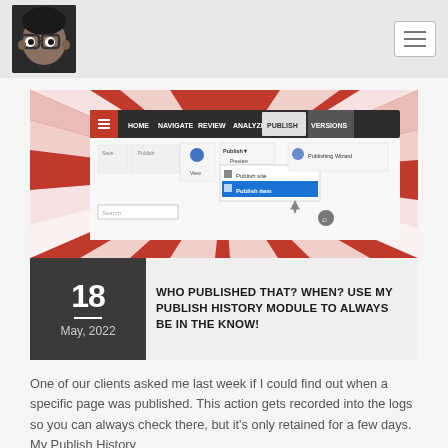Navigation header with avatar and hamburger menu
[Figure (screenshot): Screenshot of a CMS publish menu interface overlaid on a red and white swirl background, showing HOME, NAVIGATE, REVIEW, ANALYZE, PUBLISH, VERSIONS tabs and a dropdown with Publish site, Publish item options]
WHO PUBLISHED THAT? WHEN? USE MY PUBLISH HISTORY MODULE TO ALWAYS BE IN THE KNOW!
One of our clients asked me last week if I could find out when a specific page was published. This action gets recorded into the logs so you can always check there, but it's only retained for a few days. My Publish History